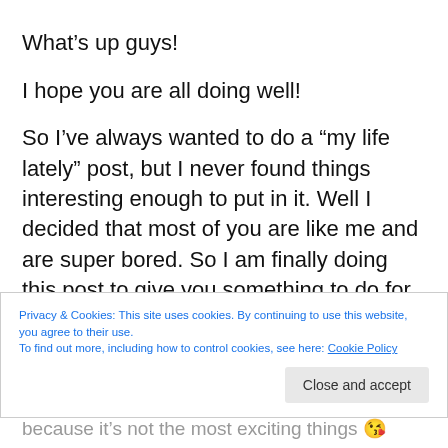What’s up guys!
I hope you are all doing well!
So I’ve always wanted to do a “my life lately” post, but I never found things interesting enough to put in it. Well I decided that most of you are like me and are super bored. So I am finally doing this post to give you something to do for 5 minutes but also to give me something to do.
Privacy & Cookies: This site uses cookies. By continuing to use this website, you agree to their use.
To find out more, including how to control cookies, see here: Cookie Policy
because it’s not the most exciting things 😘